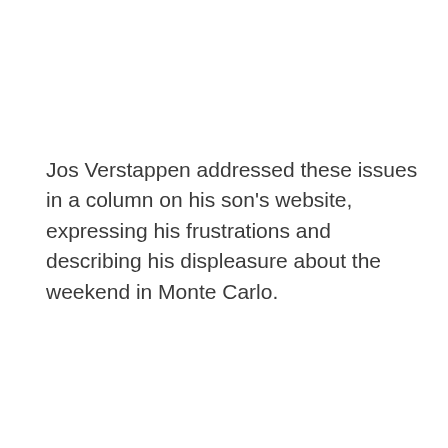Jos Verstappen addressed these issues in a column on his son's website, expressing his frustrations and describing his displeasure about the weekend in Monte Carlo.